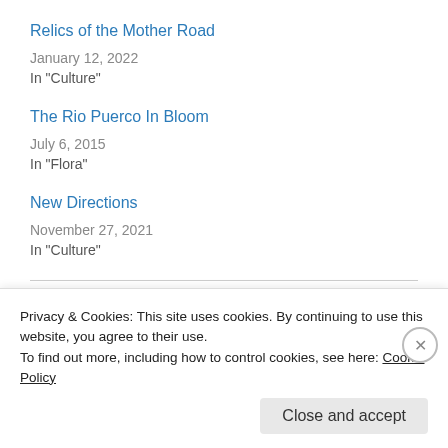Relics of the Mother Road
January 12, 2022
In "Culture"
The Rio Puerco In Bloom
July 6, 2015
In "Flora"
New Directions
November 27, 2021
In "Culture"
December 2, 2021
4 Replies
Privacy & Cookies: This site uses cookies. By continuing to use this website, you agree to their use.
To find out more, including how to control cookies, see here: Cookie Policy
Close and accept